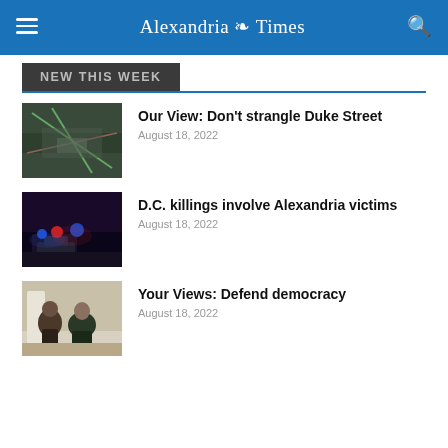Alexandria Times
NEW THIS WEEK
Our View: Don't strangle Duke Street
August 18, 2022
D.C. killings involve Alexandria victims
August 18, 2022
Your Views: Defend democracy
August 18, 2022